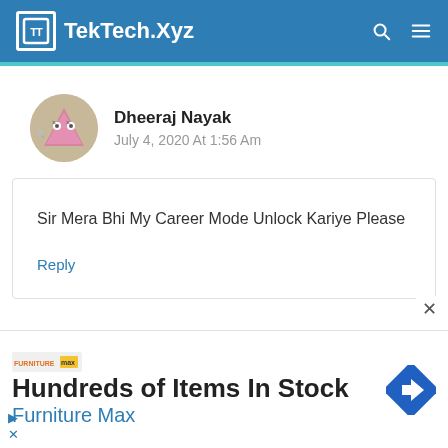TekTech.Xyz
Dheeraj Nayak
July 4, 2020 At 1:56 Am
Sir Mera Bhi My Career Mode Unlock Kariye Please
Reply
[Figure (screenshot): Advertisement banner: Hundreds of Items In Stock - Furniture Max, with logo and arrow icon]